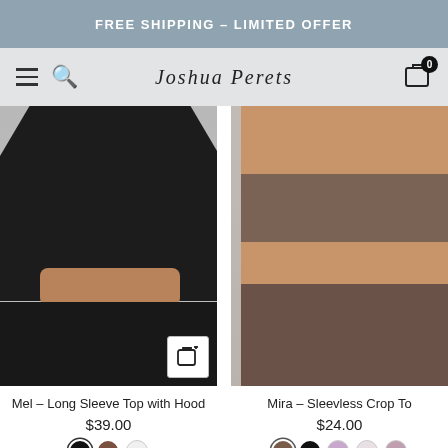FREE SHIPPING - LIMITED OFFER
Joshua Perets
[Figure (photo): Product photo of black long sleeve crop top with hood, model showing midriff. Quick-add cart icon in bottom-right corner.]
Mel - Long Sleeve Top with Hood
$39.00
[Figure (photo): Product photo of brown/mauve sleeveless crop top with matching low-rise mini skirt, model showing midriff.]
Mira - Sleevless Crop To
$24.00
ADD TO CART
joshua perets